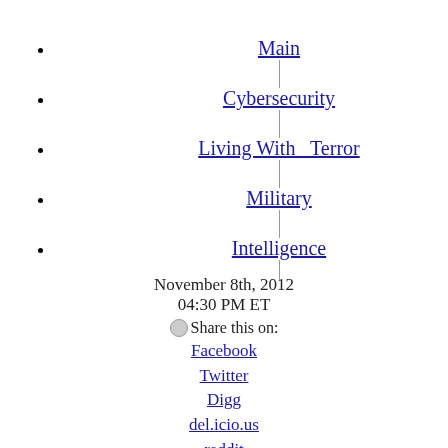Main
Cybersecurity
Living With Terror
Military
Intelligence
November 8th, 2012
04:30 PM ET
Share this on:
Facebook
Twitter
Digg
del.icio.us
reddit
MySpace
StumbleUpon